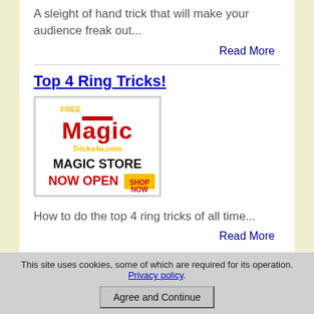A sleight of hand trick that will make your audience freak out...
Read More
Top 4 Ring Tricks!
[Figure (logo): Magic Tricks4u.com logo with text 'FREE Magic Tricks4u.com MAGIC STORE NOW OPEN SHOP NOW']
How to do the top 4 ring tricks of all time...
Read More
This site uses cookies, some of which are required for its operation. Privacy policy.